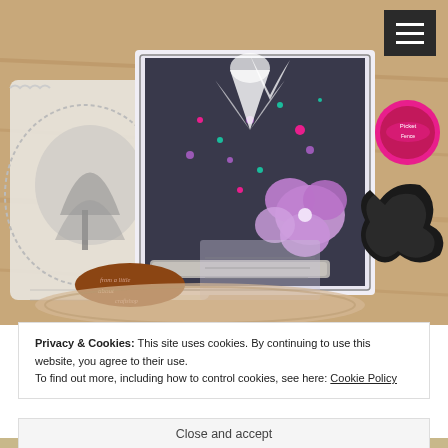[Figure (photo): Craft/scrapbooking supplies photo: cards with floral stamps, purple flower embellishment, black decorative die-cut, pink ink pad, rubber stamps on wood background]
Privacy & Cookies: This site uses cookies. By continuing to use this website, you agree to their use.
To find out more, including how to control cookies, see here: Cookie Policy
Close and accept